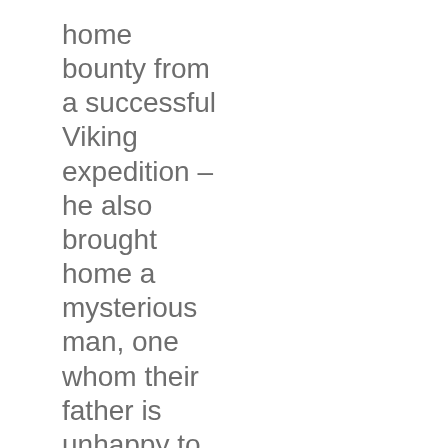home bounty from a successful Viking expedition – he also brought home a mysterious man, one whom their father is unhappy to have home.
The seventh and final story, Midwinterblo